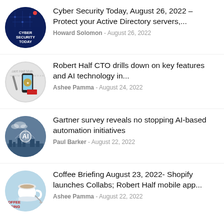[Figure (other): Circular thumbnail: Cyber Security Today podcast cover with dark blue background and circuit board imagery, text 'CYBER SECURITY TODAY']
Cyber Security Today, August 26, 2022 – Protect your Active Directory servers,...
Howard Solomon - August 26, 2022
[Figure (other): Circular thumbnail: Robert Half Mobile app award image with smartphone and Robert Half branding]
Robert Half CTO drills down on key features and AI technology in...
Ashee Pamma - August 24, 2022
[Figure (other): Circular thumbnail: AI concept image with city skyline and AI text overlay]
Gartner survey reveals no stopping AI-based automation initiatives
Paul Barker - August 22, 2022
[Figure (other): Circular thumbnail: Coffee Briefing image with coffee cup on light blue background]
Coffee Briefing August 23, 2022- Shopify launches Collabs; Robert Half mobile app...
Ashee Pamma - August 22, 2022